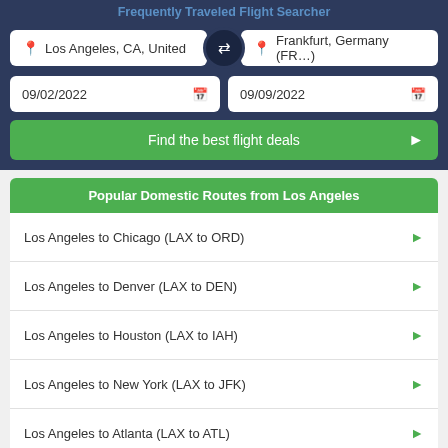Frequently Traveled Flight Searcher
Los Angeles, CA, United
Frankfurt, Germany (FR…)
09/02/2022
09/09/2022
Find the best flight deals
Popular Domestic Routes from Los Angeles
Los Angeles to Chicago (LAX to ORD)
Los Angeles to Denver (LAX to DEN)
Los Angeles to Houston (LAX to IAH)
Los Angeles to New York (LAX to JFK)
Los Angeles to Atlanta (LAX to ATL)